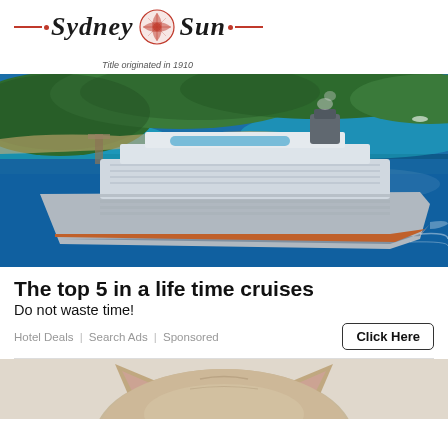Sydney Sun — Title originated in 1910
[Figure (photo): Aerial view of a large cruise ship in turquoise blue water near a tropical island with lush green trees]
The top 5 in a life time cruises
Do not waste time!
Hotel Deals | Search Ads | Sponsored
[Figure (photo): Close-up of the top of a cat's head with ears visible, cropped at bottom of page]